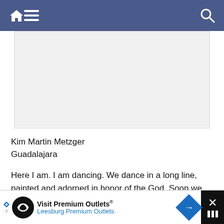Navigation bar with home, menu, and search icons
[Figure (other): Gray advertisement placeholder banner]
Kim Martin Metzger
Guadalajara
Here I am. I am dancing. We dance in a long line, painted and adorned in honor of the God. Soon we will be with Huitzilopochtli; soon we will escort the sun in the sky. We were warriors, now we are prisoners. In a long line we dance, and up front the High Priests are standing. We dance in a long line, and one after the other of us
Visit Premium Outlets® Leesburg Premium Outlets — advertisement banner